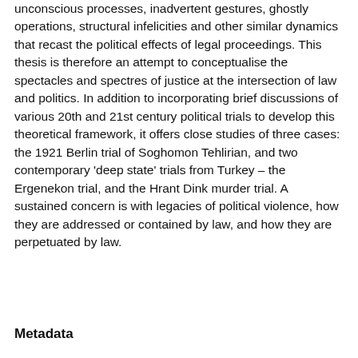unconscious processes, inadvertent gestures, ghostly operations, structural infelicities and other similar dynamics that recast the political effects of legal proceedings. This thesis is therefore an attempt to conceptualise the spectacles and spectres of justice at the intersection of law and politics. In addition to incorporating brief discussions of various 20th and 21st century political trials to develop this theoretical framework, it offers close studies of three cases: the 1921 Berlin trial of Soghomon Tehlirian, and two contemporary 'deep state' trials from Turkey – the Ergenekon trial, and the Hrant Dink murder trial. A sustained concern is with legacies of political violence, how they are addressed or contained by law, and how they are perpetuated by law.
Metadata